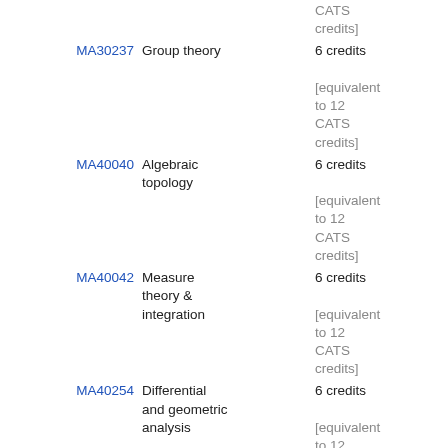| Code | Name | Credits |
| --- | --- | --- |
|  |  | CATS credits] |
| MA30237 | Group theory | 6 credits
[equivalent to 12 CATS credits] |
| MA40040 | Algebraic topology | 6 credits
[equivalent to 12 CATS credits] |
| MA40042 | Measure theory & integration | 6 credits
[equivalent to 12 CATS credits] |
| MA40254 | Differential and geometric analysis | 6 credits
[equivalent to 12 CATS credits] |
| PH30024 | Contemporary physics | 6 credits |